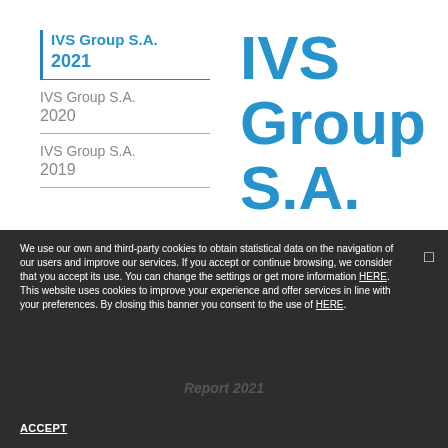IVS Group S.A. 2021
IVS Group S.A. 2020
IVS Group S.A. 2019
IVS Group S.A.
We use our own and third-party cookies to obtain statistical data on the navigation of our users and improve our services. If you accept or continue browsing, we consider that you accept its use. You can change the settings or get more information HERE. This website uses cookies to improve your experience and offer services in line with your preferences. By closing this banner you consent to the use of HERE.
Report 2021
ACCEPT